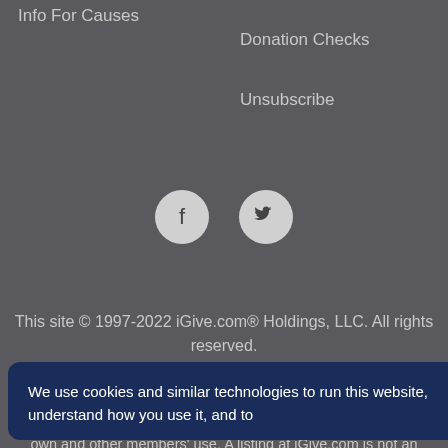Info For Causes
Donation Checks
Unsubscribe
[Figure (illustration): Facebook and Twitter social media icon circles]
This site © 1997-2022 iGive.com® Holdings, LLC. All rights reserved.
Problems? Contact us. Nonprofit organizations listed at iGive.com have been listed by members or their parent organization for their own and other members' use. A listing at iGive.com is not an endorsement of iGive.com
We use cookies and similar technologies to run this website, understand how you use it, and to